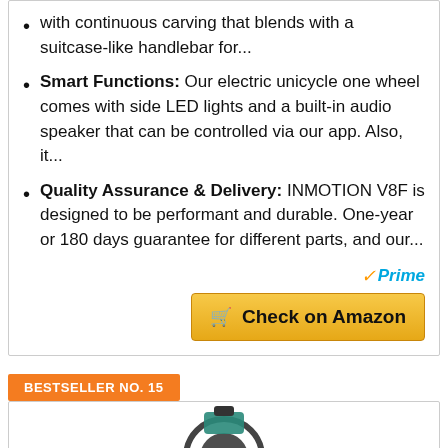with continuous carving that blends with a suitcase-like handlebar for...
Smart Functions: Our electric unicycle one wheel comes with side LED lights and a built-in audio speaker that can be controlled via our app. Also, it...
Quality Assurance & Delivery: INMOTION V8F is designed to be performant and durable. One-year or 180 days guarantee for different parts, and our...
Prime
Check on Amazon
BESTSELLER NO. 15
[Figure (photo): Product photo of an electric unicycle, partially visible at the bottom of the page]